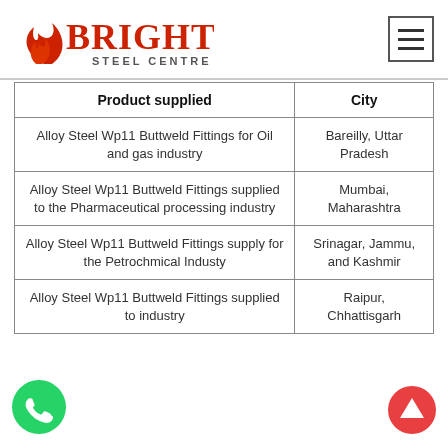[Figure (logo): Bright Steel Centre logo in red with flame graphic and STEEL CENTRE subtitle]
| Product supplied | City |
| --- | --- |
| Alloy Steel Wp11 Buttweld Fittings for Oil and gas industry | Bareilly, Uttar Pradesh |
| Alloy Steel Wp11 Buttweld Fittings supplied to the Pharmaceutical processing industry | Mumbai, Maharashtra |
| Alloy Steel Wp11 Buttweld Fittings supply for the Petrochmical Industy | Srinagar, Jammu, and Kashmir |
| Alloy Steel Wp11 Buttweld Fittings supplied to industry | Raipur, Chhattisgarh |
[Figure (illustration): Green WhatsApp floating button icon at bottom left]
[Figure (illustration): Red scroll-to-top floating button at bottom right]